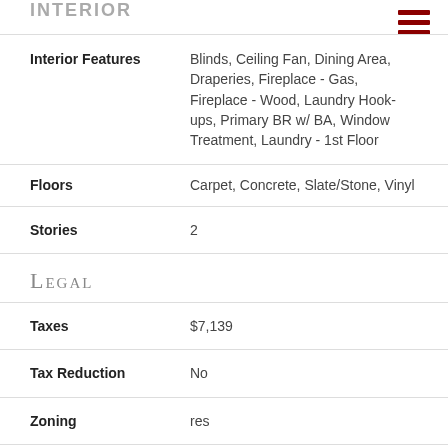INTERIOR
Interior Features: Blinds, Ceiling Fan, Dining Area, Draperies, Fireplace - Gas, Fireplace - Wood, Laundry Hook-ups, Primary BR w/ BA, Window Treatment, Laundry - 1st Floor
Floors: Carpet, Concrete, Slate/Stone, Vinyl
Stories: 2
Legal
Taxes: $7,139
Tax Reduction: No
Zoning: res
Surveyed Y/N: Unknown